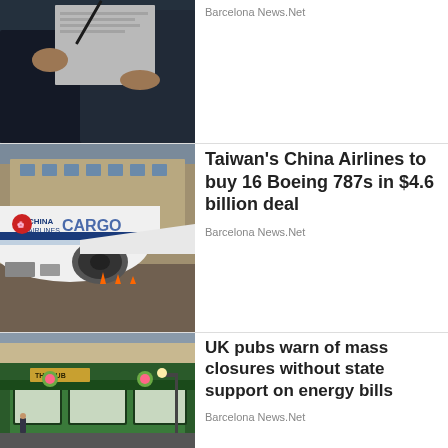[Figure (photo): Partial photo of person holding a document/clipboard, cropped at top]
Barcelona News.Net
[Figure (photo): China Airlines Cargo large aircraft on airport tarmac]
Taiwan's China Airlines to buy 16 Boeing 787s in $4.6 billion deal
Barcelona News.Net
[Figure (photo): UK pub exterior with green facade and hanging flower baskets]
UK pubs warn of mass closures without state support on energy bills
Barcelona News.Net